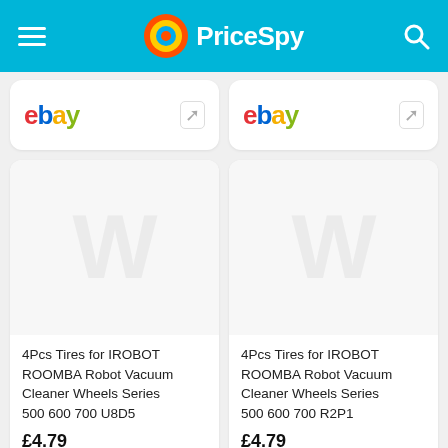PriceSpy
[Figure (logo): eBay logo with external link icon - top left card]
[Figure (logo): eBay logo with external link icon - top right card]
[Figure (screenshot): Product image placeholder for 4Pcs Tires for IROBOT ROOMBA Robot Vacuum Cleaner Wheels Series 500 600 700 U8D5]
4Pcs Tires for IROBOT ROOMBA Robot Vacuum Cleaner Wheels Series 500 600 700 U8D5
£4.79
[Figure (screenshot): Product image placeholder for 4Pcs Tires for IROBOT ROOMBA Robot Vacuum Cleaner Wheels Series 500 600 700 R2P1]
4Pcs Tires for IROBOT ROOMBA Robot Vacuum Cleaner Wheels Series 500 600 700 R2P1
£4.79
[Figure (logo): eBay logo partially visible - bottom left]
[Figure (logo): eBay logo partially visible - bottom right]